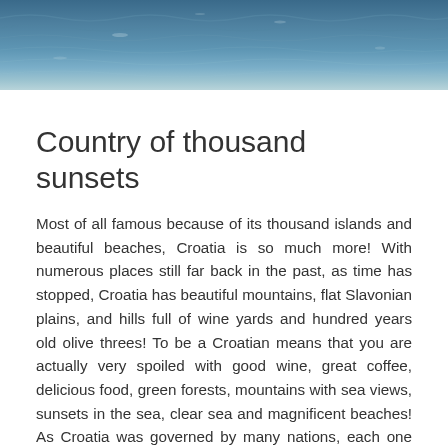[Figure (photo): Aerial or close-up view of blue sea water with gentle ripples and waves, dark teal to lighter blue gradient.]
Country of thousand sunsets
Most of all famous because of its thousand islands and beautiful beaches, Croatia is so much more! With numerous places still far back in the past, as time has stopped, Croatia has beautiful mountains, flat Slavonian plains, and hills full of wine yards and hundred years old olive threes! To be a Croatian means that you are actually very spoiled with good wine, great coffee, delicious food, green forests, mountains with sea views, sunsets in the sea, clear sea and magnificent beaches! As Croatia was governed by many nations, each one has left its touch here, you can feel Turkish touch in some